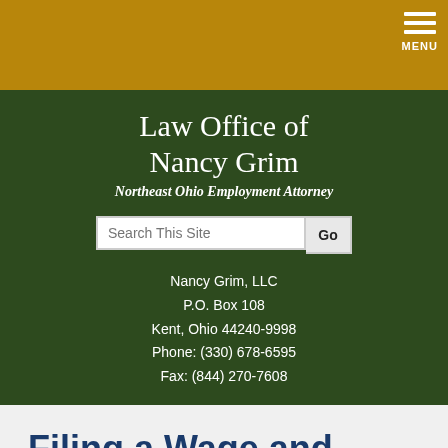[Figure (screenshot): Gold navigation bar with hamburger menu icon and MENU text in top right corner]
Law Office of Nancy Grim
Northeast Ohio Employment Attorney
[Figure (screenshot): Search bar with placeholder 'Search This Site' and Go button]
Nancy Grim, LLC
P.O. Box 108
Kent, Ohio 44240-9998
Phone: (330) 678-6595
Fax: (844) 270-7608
Filing a Wage and Hour Claim – California